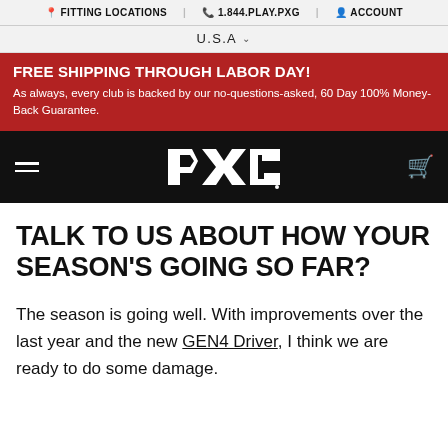FITTING LOCATIONS | 1.844.PLAY.PXG | ACCOUNT
U.S.A
FREE SHIPPING THROUGH LABOR DAY! As always, every club is backed by our no-questions-asked, 60 Day 100% Money-Back Guarantee.
[Figure (logo): PXG logo on black navigation bar with hamburger menu and cart icon]
TALK TO US ABOUT HOW YOUR SEASON'S GOING SO FAR?
The season is going well. With improvements over the last year and the new GEN4 Driver, I think we are ready to do some damage.